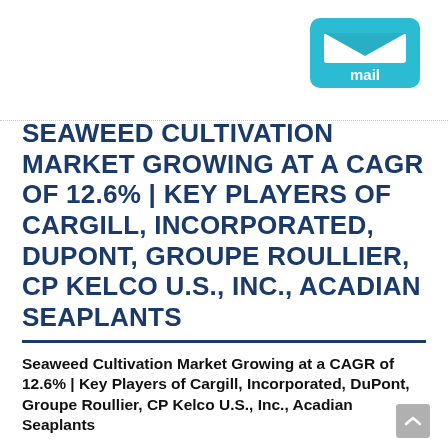[Figure (logo): Mail app icon – a sky-blue rounded rectangle with a white envelope/letter icon and the word 'mail' in white text below the envelope flap]
SEAWEED CULTIVATION MARKET GROWING AT A CAGR OF 12.6% | KEY PLAYERS OF CARGILL, INCORPORATED, DUPONT, GROUPE ROULLIER, CP KELCO U.S., INC., ACADIAN SEAPLANTS
Seaweed Cultivation Market Growing at a CAGR of 12.6% | Key Players of Cargill, Incorporated, DuPont, Groupe Roullier, CP Kelco U.S., Inc., Acadian Seaplants